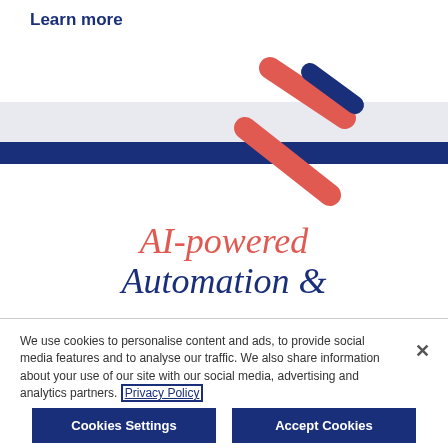Learn more
[Figure (logo): Stylized logo with two crossing diagonal stripes — one coral/red and one dark navy blue — overlapping on a light grey and dark navy horizontal band background]
AI-powered Automation &
We use cookies to personalise content and ads, to provide social media features and to analyse our traffic. We also share information about your use of our site with our social media, advertising and analytics partners. Privacy Policy
Cookies Settings
Accept Cookies